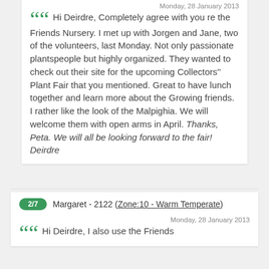Monday, 28 January 2013
Hi Deirdre, Completely agree with you re the Friends Nursery. I met up with Jorgen and Jane, two of the volunteers, last Monday. Not only passionate plantspeople but highly organized. They wanted to check out their site for the upcoming Collectors'' Plant Fair that you mentioned. Great to have lunch together and learn more about the Growing friends. I rather like the look of the Malpighia. We will welcome them with open arms in April. Thanks, Peta. We will all be looking forward to the fair! Deirdre
2/7  Margaret - 2122 (Zone:10 - Warm Temperate)
Monday, 28 January 2013
Hi Deirdre, I also use the Friends